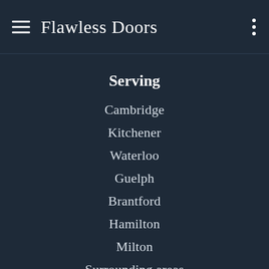Flawless Doors
Serving
Cambridge
Kitchener
Waterloo
Guelph
Brantford
Hamilton
Milton
Surrounding areas